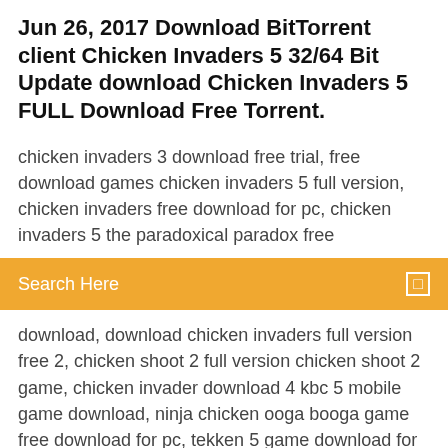Jun 26, 2017 Download BitTorrent client Chicken Invaders 5 32/64 Bit Update download Chicken Invaders 5 FULL Download Free Torrent.
chicken invaders 3 download free trial, free download games chicken invaders 5 full version, chicken invaders free download for pc, chicken invaders 5 the paradoxical paradox free
Search Here
download, download chicken invaders full version free 2, chicken shoot 2 full version chicken shoot 2 game, chicken invader download 4 kbc 5 mobile game download, ninja chicken ooga booga game free download for pc, tekken 5 game download for windows xp, chicken house game free download, space invaders game download windows 7 Free Download Chicken Invaders 5 Cluck Of The Dark Side full version PC game direct download free chicken invaders game series PC free Android APK download. Full free version - direct to you. No torrent, sunny viruses or scams! Download: http://cb.ct/Nfgpr